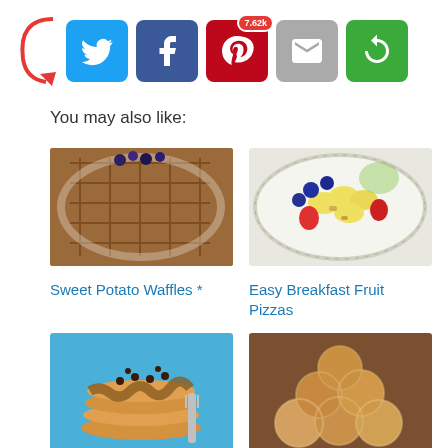[Figure (infographic): Social sharing buttons: Twitter (blue bird), Facebook (blue f), Pinterest (red P with 7.62k badge), Email (grey envelope), Share (green circular arrows). A red curved arrow points to them from the left.]
You may also like:
[Figure (photo): Photo of Sweet Potato Waffles on a white plate with blueberries on top.]
Sweet Potato Waffles *
[Figure (photo): Photo of Easy Breakfast Fruit Pizzas on a white dotted plate with bananas, strawberries, blueberries, and granola.]
Easy Breakfast Fruit Pizzas
[Figure (photo): Photo of stack of pancakes with peanut butter syrup and chocolate chips on a blue plate with a fork.]
Peanut Butter Syrup
[Figure (photo): Photo of Easy Gluten Free round pastry balls coated in cinnamon sugar, piled up.]
Easy, Gluten Free